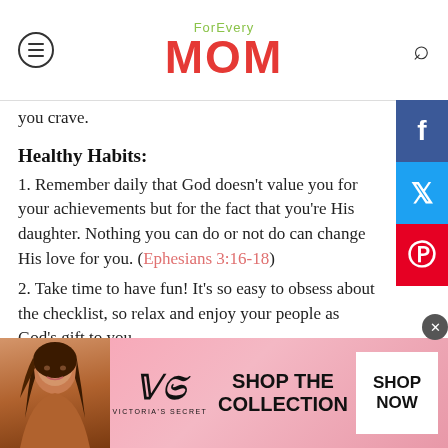ForEvery MOM
you crave.
Healthy Habits:
1. Remember daily that God doesn’t value you for your achievements but for the fact that you’re His daughter. Nothing you can do or not do can change His love for you. (Ephesians 3:16-18)
2. Take time to have fun! It’s so easy to obsess about the checklist, so relax and enjoy your people as God’s gift to you.
3. Ease up on the pressure you put yourself under to accomplish everything on your to-do list.
[Figure (advertisement): Victoria's Secret advertisement banner with a model, VS logo, 'SHOP THE COLLECTION' text, and 'SHOP NOW' button]